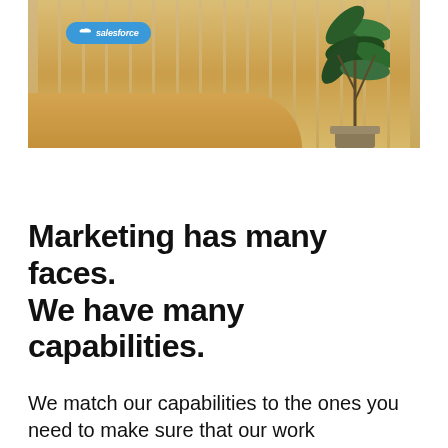[Figure (photo): Salesforce office reception area with light wood panel wall featuring the Salesforce cloud logo in blue, a curved reception desk in warm wood tones, and large tropical plants]
Marketing has many faces. We have many capabilities.
We match our capabilities to the ones you need to make sure that our work